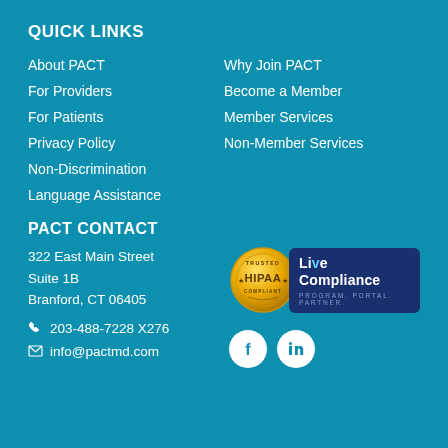QUICK LINKS
About PACT
Why Join PACT
For Providers
Become a Member
For Patients
Member Services
Privacy Policy
Non-Member Services
Non-Discrimination
Language Assistance
PACT CONTACT
322 East Main Street
Suite 1B
Branford, CT 06405
203-488-7228 X276
info@pactmd.com
[Figure (logo): HIPAA Trusted Compliant gold seal badge alongside Live Compliance Program Portal Partner logo on dark blue background]
[Figure (illustration): Facebook and LinkedIn social media icons as white circular buttons]